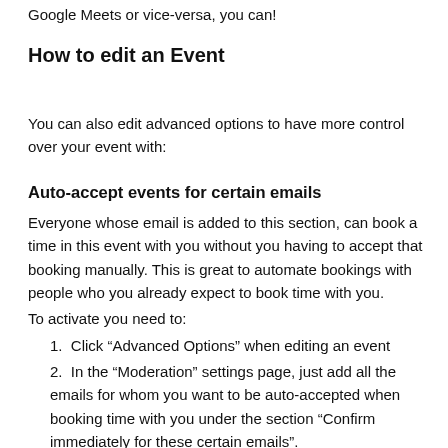Google Meets or vice-versa, you can!
How to edit an Event
You can also edit advanced options to have more control over your event with:
Auto-accept events for certain emails
Everyone whose email is added to this section, can book a time in this event with you without you having to accept that booking manually. This is great to automate bookings with people who you already expect to book time with you.
To activate you need to:
Click “Advanced Options” when editing an event
In the “Moderation” settings page, just add all the emails for whom you want to be auto-accepted when booking time with you under the section “Confirm immediately for these certain emails”.